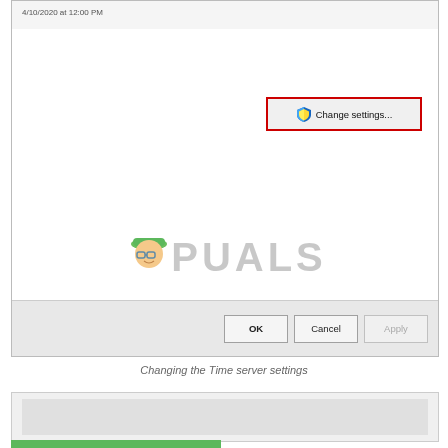[Figure (screenshot): Windows Date and Time settings dialog showing a 'Change settings...' button highlighted with a red border. The dialog has OK, Cancel, and Apply buttons at the bottom. An Appuals.com watermark is overlaid on the screenshot.]
Changing the Time server settings
[Figure (screenshot): Partial screenshot showing a gray dialog area, partially cropped.]